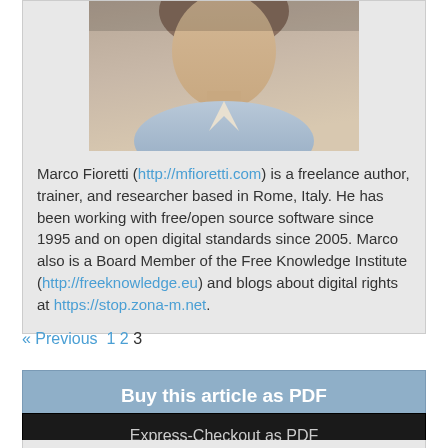[Figure (photo): Partial photo of Marco Fioretti, cropped at top showing lower portion of face and upper body]
Marco Fioretti (http://mfioretti.com) is a freelance author, trainer, and researcher based in Rome, Italy. He has been working with free/open source software since 1995 and on open digital standards since 2005. Marco also is a Board Member of the Free Knowledge Institute (http://freeknowledge.eu) and blogs about digital rights at https://stop.zona-m.net.
« Previous 1 2 3
Buy this article as PDF
Express-Checkout as PDF